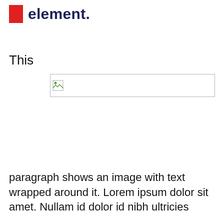element.
This
[Figure (other): Broken image placeholder — a wide rectangular image box with a broken image icon in the top-left corner]
paragraph shows an image with text wrapped around it. Lorem ipsum dolor sit amet. Nullam id dolor id nibh ultricies